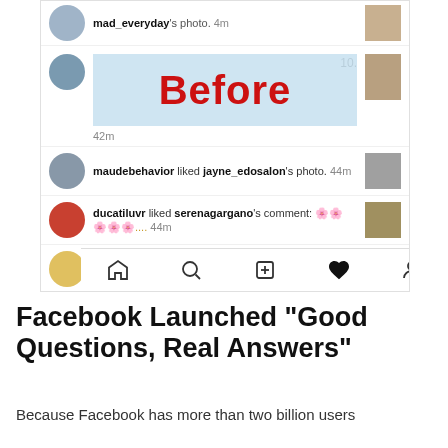[Figure (screenshot): Instagram activity/notifications screen (Before state) showing notifications: mad_everyday's photo (top, cut off), Before label overlay in blue tint, user with '10.' count and '42m', maudebehavior liked jayne_edosalon's photo 44m, ducatiluvr liked serenagargano's comment with emoji text 44m, g.ball liked 2 of your posts 2h, with bottom navigation bar icons]
Facebook Launched “Good Questions, Real Answers”
Because Facebook has more than two billion users